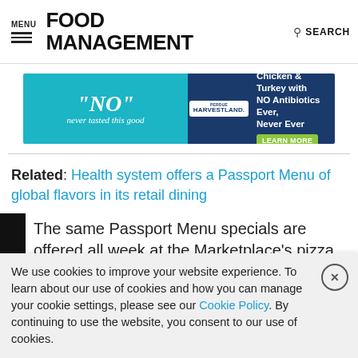MENU | FOOD MANAGEMENT | SEARCH
[Figure (illustration): Advertisement banner for Perdue Harvestland: 'NO never tasted this good' with Chicken & Turkey with NO Antibiotics Ever, Never Ever. LEARN MORE button.]
Related: Health system offers a Passport Menu of global flavors in its retail dining
The same Passport Menu specials are offered all week at the Marketplace's pizza, deli, grill and salad stations while the action station (has been the biggest hit because it features new...
We use cookies to improve your website experience. To learn about our use of cookies and how you can manage your cookie settings, please see our Cookie Policy. By continuing to use the website, you consent to our use of cookies.